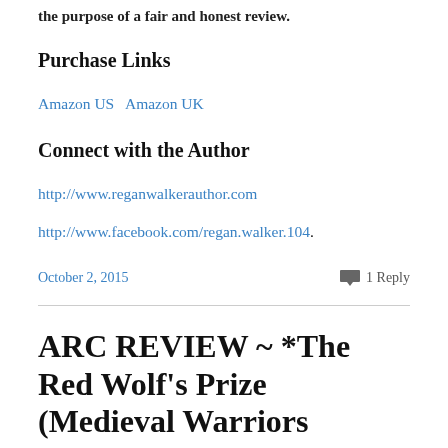the purpose of a fair and honest review.
Purchase Links
Amazon US   Amazon UK
Connect with the Author
http://www.reganwalkerauthor.com
http://www.facebook.com/regan.walker.104.
October 2, 2015
1 Reply
ARC REVIEW ~ *The Red Wolf's Prize (Medieval Warriors